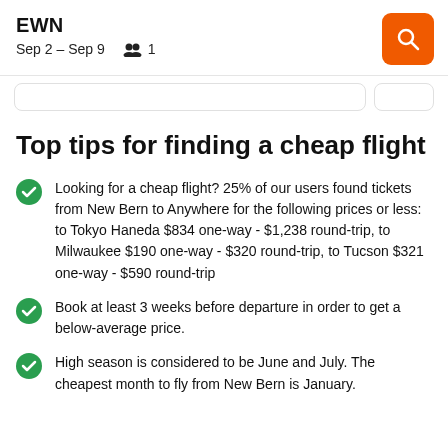EWN Sep 2 – Sep 9   1
Top tips for finding a cheap flight
Looking for a cheap flight? 25% of our users found tickets from New Bern to Anywhere for the following prices or less: to Tokyo Haneda $834 one-way - $1,238 round-trip, to Milwaukee $190 one-way - $320 round-trip, to Tucson $321 one-way - $590 round-trip
Book at least 3 weeks before departure in order to get a below-average price.
High season is considered to be June and July. The cheapest month to fly from New Bern is January.